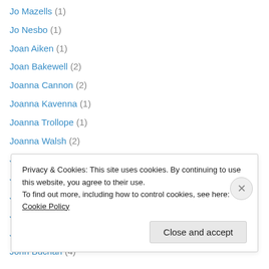Jo Mazells (1)
Jo Nesbo (1)
Joan Aiken (1)
Joan Bakewell (2)
Joanna Cannon (2)
Joanna Kavenna (1)
Joanna Trollope (1)
Joanna Walsh (2)
Joanne Harris (2)
Joe Orton (1)
Joe Sumner (1)
Joel Dicker (1)
John Boyne (2)
John Buchan (4)
Privacy & Cookies: This site uses cookies. By continuing to use this website, you agree to their use. To find out more, including how to control cookies, see here: Cookie Policy
Close and accept